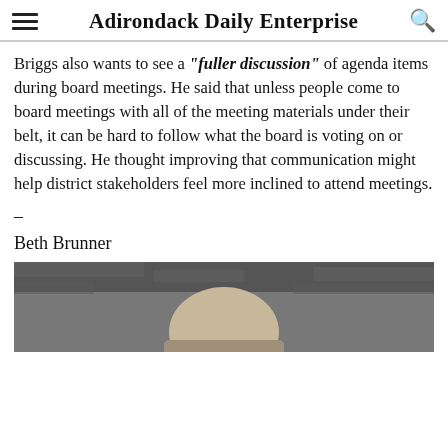Adirondack Daily Enterprise
Briggs also wants to see a “fuller discussion” of agenda items during board meetings. He said that unless people come to board meetings with all of the meeting materials under their belt, it can be hard to follow what the board is voting on or discussing. He thought improving that communication might help district stakeholders feel more inclined to attend meetings.
–
Beth Brunner
[Figure (photo): Photo of Beth Brunner, partially visible, showing a person outdoors against a stone wall background.]